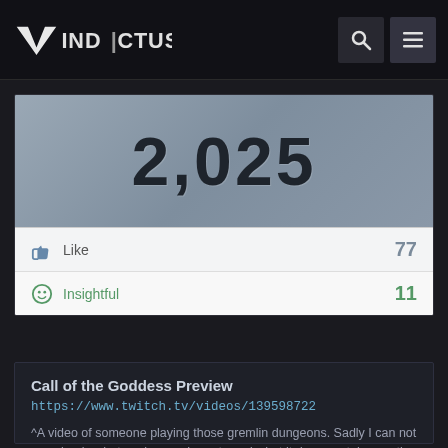VINDICTUS
2,025
Like 77
Insightful 11
Call of the Goddess Preview
https://www.twitch.tv/videos/139598722
^A video of someone playing those gremlin dungeons. Sadly I can not see clearly what packages she gets and what it does contain exactly.
[Figure (photo): Three character avatar thumbnails from the game Vindictus]